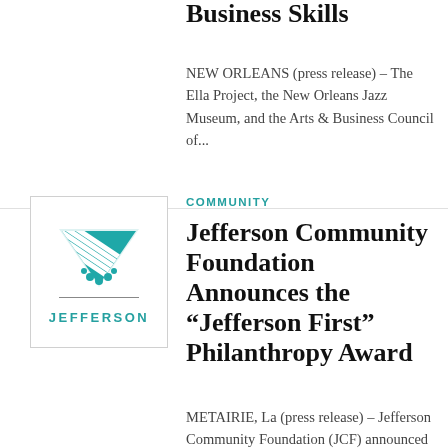Business Skills
NEW ORLEANS (press release) – The Ella Project, the New Orleans Jazz Museum, and the Arts & Business Council of...
[Figure (logo): Jefferson Community Foundation logo: teal geometric triangle/fan shape with dots, a horizontal line, and 'JEFFERSON' text below in teal]
COMMUNITY
Jefferson Community Foundation Announces the “Jefferson First” Philanthropy Award
METAIRIE, La (press release) – Jefferson Community Foundation (JCF) announced today the creation of the “Jefferson First” Philanthropy Award to...